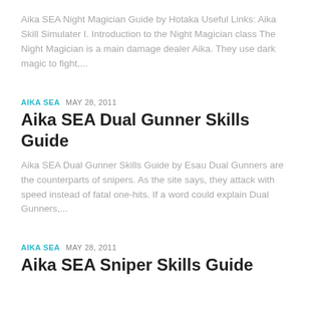Aika SEA Night Magician Guide by Hotaka Useful Links: Aika Skill Simulater I. Introduction to the Night Magician class The Night Magician is a main damage dealer Aika. They use dark magic to fight,...
AIKA SEA  MAY 28, 2011
Aika SEA Dual Gunner Skills Guide
Aika SEA Dual Gunner Skills Guide by Esau Dual Gunners are the counterparts of snipers. As the site says, they attack with speed instead of fatal one-hits. If a word could explain Dual Gunners,...
AIKA SEA  MAY 28, 2011
Aika SEA Sniper Skills Guide